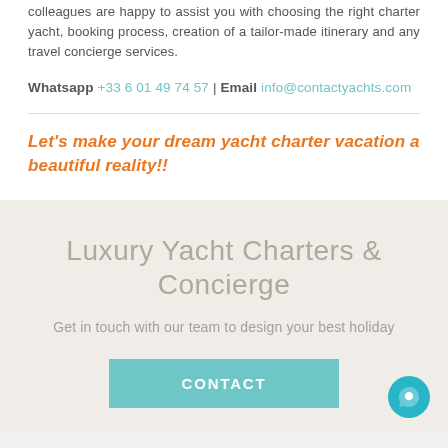colleagues are happy to assist you with choosing the right charter yacht, booking process, creation of a tailor-made itinerary and any travel concierge services.
Whatsapp +33 6 01 49 74 57 | Email info@contactyachts.com
Let's make your dream yacht charter vacation a beautiful reality!!
Luxury Yacht Charters & Concierge
Get in touch with our team to design your best holiday
CONTACT